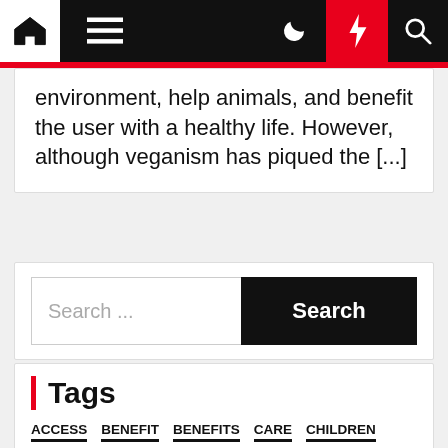Navigation bar with home, menu, moon, bolt, and search icons
environment, help animals, and benefit the user with a healthy life. However, although veganism has piqued the [...]
Search ...
Tags
ACCESS
BENEFIT
BENEFITS
CARE
CHILDREN
DAY
DEFINITION
DENTAL
DIET
DIETS
EATING
FASTING
FINDS
FITNESS
FOOD
GYM
HEALTH
HEALTHY
HOME
HYGIENE
IMPROVE
INSURANCE